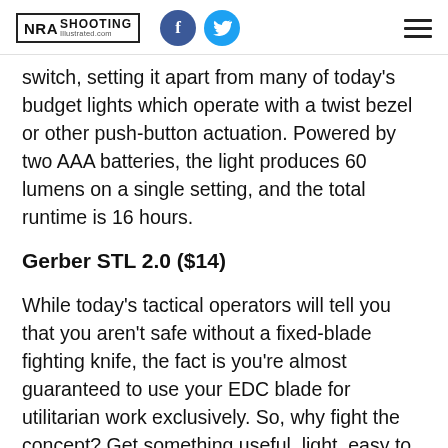NRA SHOOTING Illustrated.com
switch, setting it apart from many of today's budget lights which operate with a twist bezel or other push-button actuation. Powered by two AAA batteries, the light produces 60 lumens on a single setting, and the total runtime is 16 hours.
Gerber STL 2.0 ($14)
While today's tactical operators will tell you that you aren't safe without a fixed-blade fighting knife, the fact is you're almost guaranteed to use your EDC blade for utilitarian work exclusively. So, why fight the concept? Get something useful, light, easy to carry and affordable, like the Gerber STL 2.0. This knife measures only 3 inches when closed and weighs in